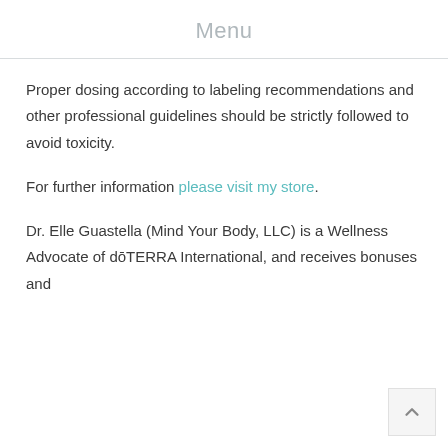Menu
Proper dosing according to labeling recommendations and other professional guidelines should be strictly followed to avoid toxicity.
For further information please visit my store.
Dr. Elle Guastella (Mind Your Body, LLC) is a Wellness Advocate of dōTERRA International, and receives bonuses and